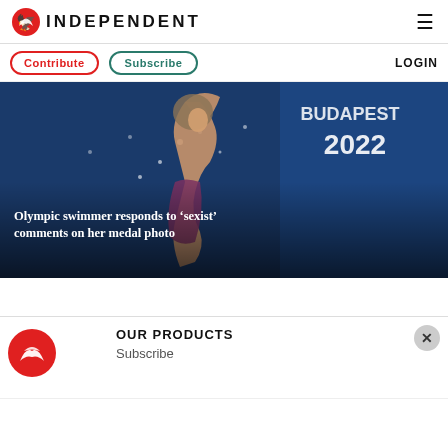INDEPENDENT
Contribute | Subscribe | LOGIN
[Figure (photo): Olympic swimmer performing in competition, with Budapest 2022 banner visible in background, water droplets in air around athlete]
Olympic swimmer responds to 'sexist' comments on her medal photo
OUR PRODUCTS
Subscribe